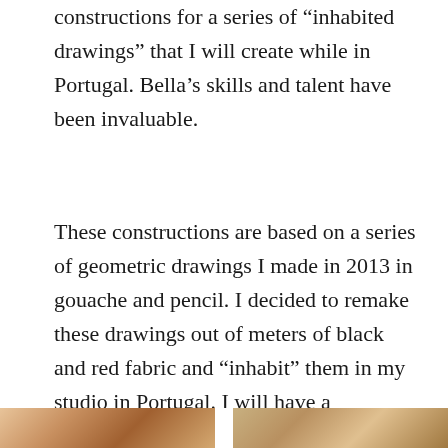constructions for a series of “inhabited drawings” that I will create while in Portugal. Bella’s skills and talent have been invaluable.
These constructions are based on a series of geometric drawings I made in 2013 in gouache and pencil. I decided to remake these drawings out of meters of black and red fabric and “inhabit” them in my studio in Portugal. I will have a photographer at Obras photograph me “inhabiting” these constructions and then paint the prints with Helena’s and my signature blue paint.
[Figure (photo): Partial view of two photographs or images at the bottom of the page, cropped by the page edge. Warm tones with brown and ochre colors visible.]